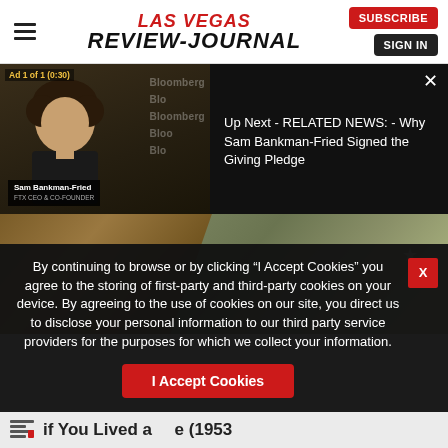Las Vegas Review-Journal — SUBSCRIBE | SIGN IN
[Figure (screenshot): Video ad player showing Sam Bankman-Fried Bloomberg interview thumbnail on left, with 'Up Next - RELATED NEWS: - Why Sam Bankman-Fried Signed the Giving Pledge' text on right dark panel. Ad label '1 of 1 (0:30)' and close button X visible.]
[Figure (photo): Photo of a military person in camouflage uniform and cap, leaning against a wall.]
By continuing to browse or by clicking “I Accept Cookies” you agree to the storing of first-party and third-party cookies on your device. By agreeing to the use of cookies on our site, you direct us to disclose your personal information to our third party service providers for the purposes for which we collect your information.
I Accept Cookies
If You Lived at __ (1953